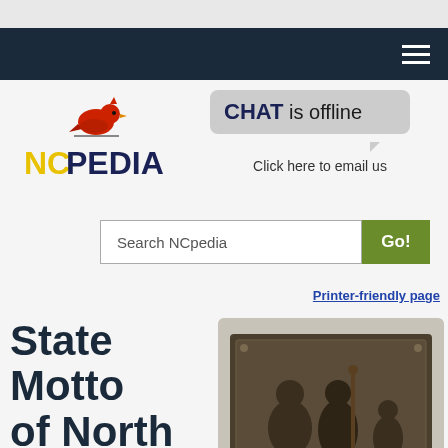NCpedia website header navigation bar
[Figure (logo): NCpedia logo with red cardinal bird and yellow/blue text]
[Figure (infographic): Chat is offline speech bubble with text: CHAT is offline. Click here to email us]
[Figure (screenshot): Search NCpedia input field with green Go! button]
Printer-friendly page
State Motto of North
[Figure (photo): Bronze relief plaque showing historical figures, mounted on stone]